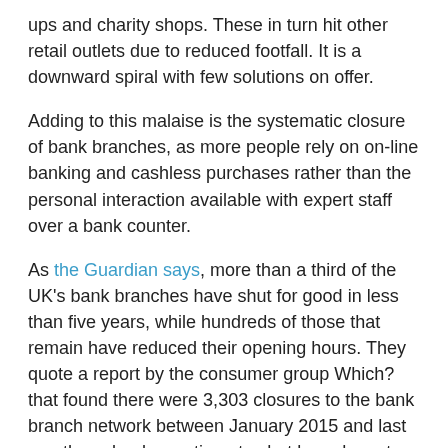ups and charity shops. These in turn hit other retail outlets due to reduced footfall. It is a downward spiral with few solutions on offer.
Adding to this malaise is the systematic closure of bank branches, as more people rely on on-line banking and cashless purchases rather than the personal interaction available with expert staff over a bank counter.
As the Guardian says, more than a third of the UK's bank branches have shut for good in less than five years, while hundreds of those that remain have reduced their opening hours. They quote a report by the consumer group Which? that found there were 3,303 closures to the bank branch network between January 2015 and last month, as banks continue to shut branches at an “alarming rate”.
Overall, the UK branch network has reduced from 9,803 to 6,549 in four and a half years, with the closures being offset by 49 branches opened by the challenger banks. Of the UK’s bank branches that remain open, 298 are operating with reduced opening hours of four days a week or fewer.